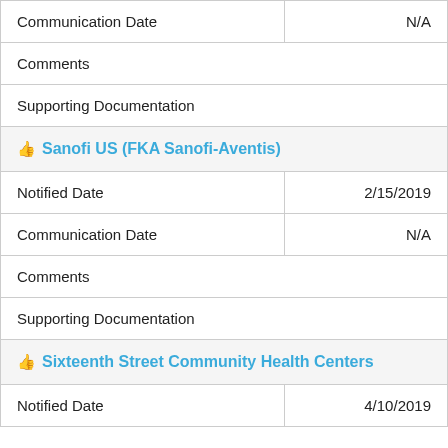| Communication Date | N/A |
| Comments |  |
| Supporting Documentation |  |
| 👍 Sanofi US (FKA Sanofi-Aventis) |  |
| Notified Date | 2/15/2019 |
| Communication Date | N/A |
| Comments |  |
| Supporting Documentation |  |
| 👍 Sixteenth Street Community Health Centers |  |
| Notified Date | 4/10/2019 |